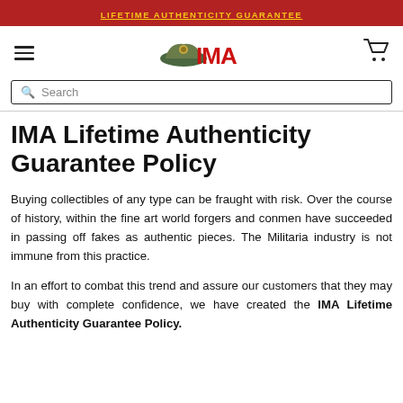LIFETIME AUTHENTICITY GUARANTEE
IMA Lifetime Authenticity Guarantee Policy
Buying collectibles of any type can be fraught with risk. Over the course of history, within the fine art world forgers and conmen have succeeded in passing off fakes as authentic pieces. The Militaria industry is not immune from this practice.
In an effort to combat this trend and assure our customers that they may buy with complete confidence, we have created the IMA Lifetime Authenticity Guarantee Policy.